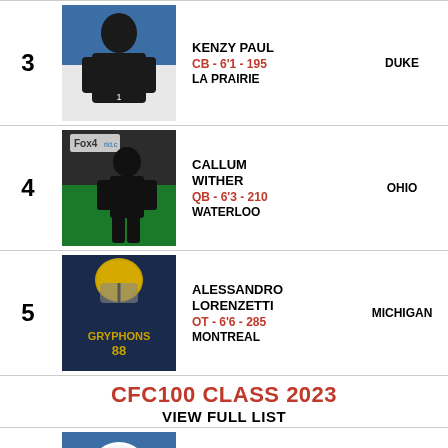| # | Photo | Player | School |
| --- | --- | --- | --- |
| 3 | [photo] | KENZY PAUL
CB - 6'1 - 195
LA PRAIRIE | DUKE |
| 4 | [photo] | CALLUM WITHER
QB - 6'3 - 210
WATERLOO | OHIO |
| 5 | [photo] | ALESSANDRO LORENZETTI
OT - 6'6 - 285
MONTREAL | MICHIGAN |
CFC100 CLASS 2023
VIEW FULL LIST
| # | Photo | Player | School |
| --- | --- | --- | --- |
| 1 | [photo] | DREW VIOTTO
QB - 6'4 - 220
SAULT STE-MARIE | MINNESOTA |
| 2 | [photo] | DEVAN... |  |